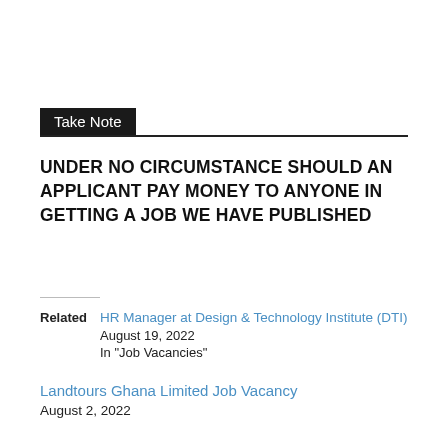Take Note
UNDER NO CIRCUMSTANCE SHOULD AN APPLICANT PAY MONEY TO ANYONE IN GETTING A JOB WE HAVE PUBLISHED
HR Manager at Design & Technology Institute (DTI)
Related
August 19, 2022
In "Job Vacancies"
Landtours Ghana Limited Job Vacancy
August 2, 2022